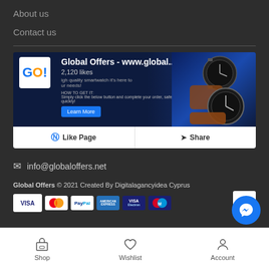About us
Contact us
[Figure (screenshot): Facebook page widget for Global Offers - www.global... showing 2,120 likes with Like Page and Share buttons, product images of smartwatches]
info@globaloffers.net
Global Offers © 2021 Created By Digitalagancyidea Cyprus
[Figure (other): Payment method icons: VISA, MasterCard, PayPal, American Express, VISA Electron, Maestro]
Shop | Wishlist | Account